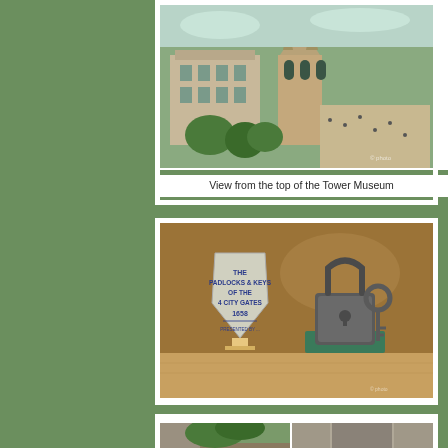[Figure (photo): Aerial view from the top of the Tower Museum in Derry/Londonderry, showing city buildings, a Gothic-style cathedral, and a town square/plaza with trees and people below.]
View from the top of the Tower Museum
[Figure (photo): Museum display case showing an antique shield-shaped plaque reading 'The Padlocks & Keys of the 4 City Gates 1658' and a large old padlock with key on a green display stand, on a wooden shelf.]
[Figure (photo): Partial view of street scenes, showing old stone walls with trees and a narrow cobblestone street with buildings.]